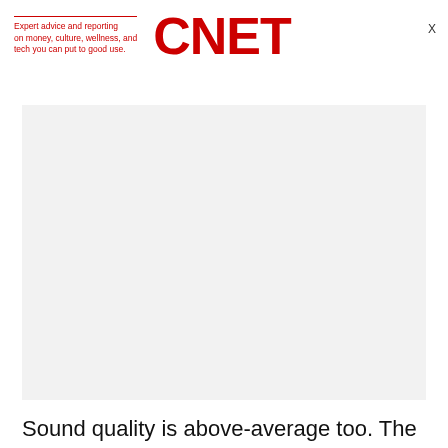Expert advice and reporting on money, culture, wellness, and tech you can put to good use. CNET
[Figure (other): Gray placeholder advertisement box]
Sound quality is above-average too. The speakers offer more bass than normal and produce a crisper and cleaner mid-range. As a result, music and dialogue sounds richer and more full-bodied than on some other plasmas we've had in for review lately.